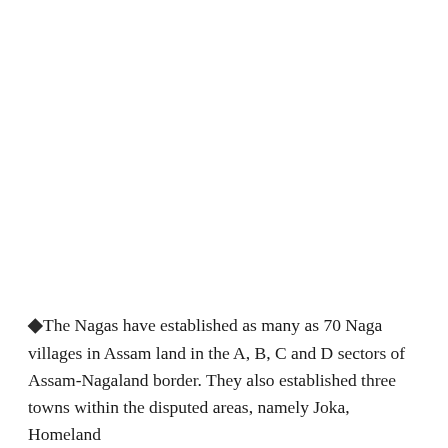◆The Nagas have established as many as 70 Naga villages in Assam land in the A, B, C and D sectors of Assam-Nagaland border. They also established three towns within the disputed areas, namely Joka, Homeland